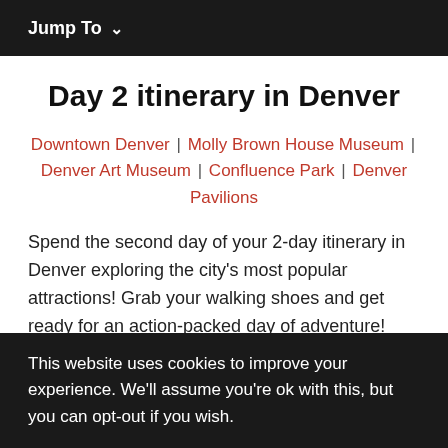Jump To ∨
Day 2 itinerary in Denver
Downtown Denver | Molly Brown House Museum | Denver Art Museum | Confluence Park | Denver Pavilions
Spend the second day of your 2-day itinerary in Denver exploring the city's most popular attractions! Grab your walking shoes and get ready for an action-packed day of adventure!
This website uses cookies to improve your experience. We'll assume you're ok with this, but you can opt-out if you wish.